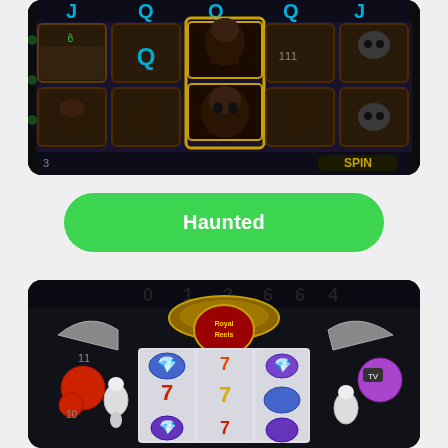[Figure (screenshot): Dark haunted-theme slot machine game screenshot showing reels with J, Q playing card symbols and creepy character faces in ornate dark frames, SPIN button visible bottom right]
Haunted
[Figure (screenshot): Colorful 3D slot machine game screenshot showing reels with 7s and gem symbols, numbers 0 1 2 6 4 visible at top, gold ornate machine frame with cartoon animal characters on sides]